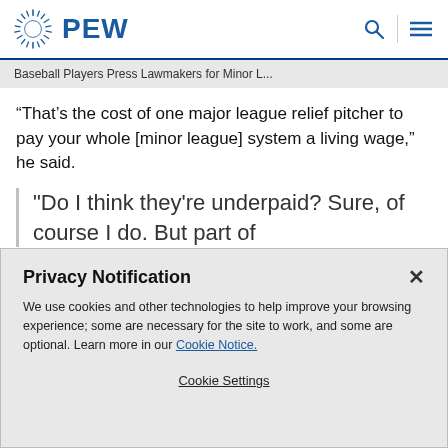PEW
Baseball Players Press Lawmakers for Minor L...
“That’s the cost of one major league relief pitcher to pay your whole [minor league] system a living wage,” he said.
"Do I think they're underpaid? Sure, of course I do. But part of
Privacy Notification
We use cookies and other technologies to help improve your browsing experience; some are necessary for the site to work, and some are optional. Learn more in our Cookie Notice.
Cookie Settings